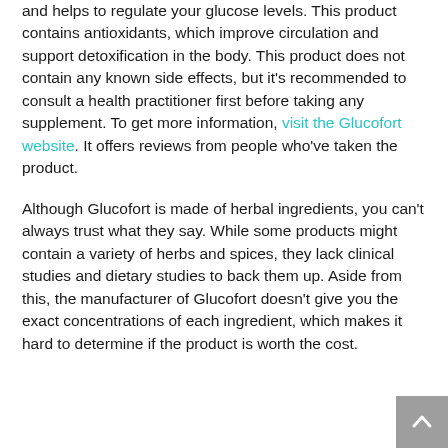and helps to regulate your glucose levels. This product contains antioxidants, which improve circulation and support detoxification in the body. This product does not contain any known side effects, but it's recommended to consult a health practitioner first before taking any supplement. To get more information, visit the Glucofort website. It offers reviews from people who've taken the product.
Although Glucofort is made of herbal ingredients, you can't always trust what they say. While some products might contain a variety of herbs and spices, they lack clinical studies and dietary studies to back them up. Aside from this, the manufacturer of Glucofort doesn't give you the exact concentrations of each ingredient, which makes it hard to determine if the product is worth the cost.